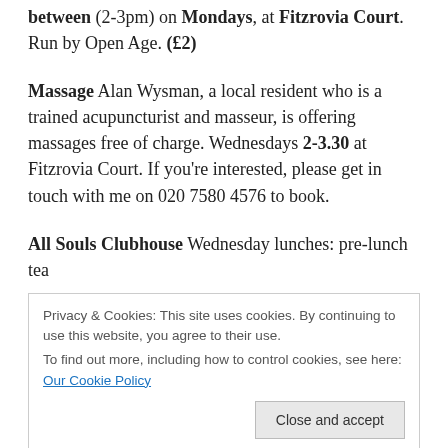Let's Sing! (11-12pm) & Knit, Natter and all crafts between (2-3pm) on Mondays, at Fitzrovia Court. Run by Open Age. (£2)
Massage Alan Wysman, a local resident who is a trained acupuncturist and masseur, is offering massages free of charge. Wednesdays 2-3.30 at Fitzrovia Court. If you're interested, please get in touch with me on 020 7580 4576 to book.
All Souls Clubhouse Wednesday lunches: pre-lunch tea
Privacy & Cookies: This site uses cookies. By continuing to use this website, you agree to their use. To find out more, including how to control cookies, see here: Our Cookie Policy
Margaret Street Lunch Club for over 60s, this month: